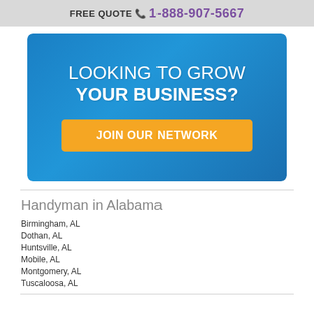FREE QUOTE 1-888-907-5667
[Figure (infographic): Blue banner with text 'LOOKING TO GROW YOUR BUSINESS?' and an orange button 'JOIN OUR NETWORK']
Handyman in Alabama
Birmingham, AL
Dothan, AL
Huntsville, AL
Mobile, AL
Montgomery, AL
Tuscaloosa, AL